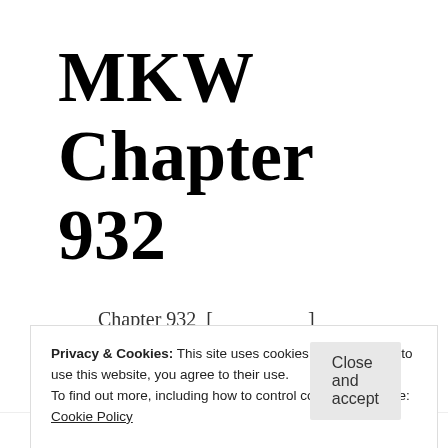MKW Chapter 932
Chapter 932  [                    ]
[Previous] – [Index] – [Next]
Privacy & Cookies: This site uses cookies. By continuing to use this website, you agree to their use.
To find out more, including how to control cookies, see here:
Cookie Policy
Close and accept
Follow